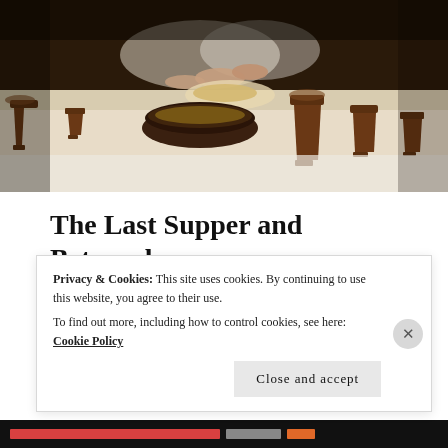[Figure (photo): Close-up photograph of a table set for a meal with wooden goblets/cups, a dark bowl, bread, and hands reaching across, evoking the Last Supper scene.]
The Last Supper and Betrayal
march 29, 2018, posted in faith
The Passover There was a lot that happened this day. From
Privacy & Cookies: This site uses cookies. By continuing to use this website, you agree to their use.
To find out more, including how to control cookies, see here: Cookie Policy
Close and accept